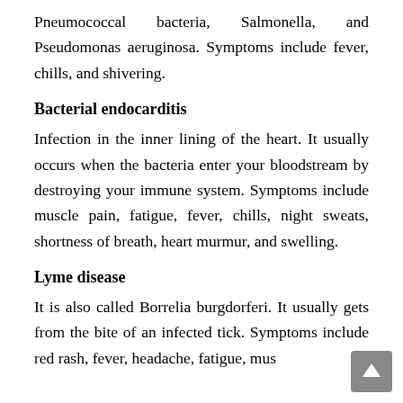Pneumococcal bacteria, Salmonella, and Pseudomonas aeruginosa. Symptoms include fever, chills, and shivering.
Bacterial endocarditis
Infection in the inner lining of the heart. It usually occurs when the bacteria enter your bloodstream by destroying your immune system. Symptoms include muscle pain, fatigue, fever, chills, night sweats, shortness of breath, heart murmur, and swelling.
Lyme disease
It is also called Borrelia burgdorferi. It usually gets from the bite of an infected tick. Symptoms include red rash, fever, headache, fatigue, mus...